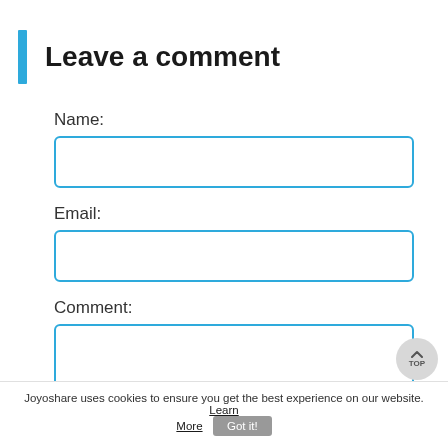Leave a comment
Name:
Email:
Comment:
Joyoshare uses cookies to ensure you get the best experience on our website. Learn More  Got it!